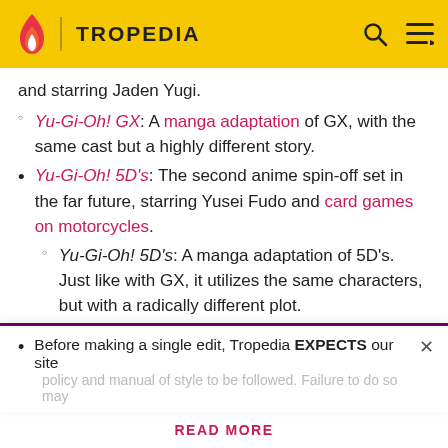TROPEDIA
and starring Jaden Yugi.
Yu-Gi-Oh! GX: A manga adaptation of GX, with the same cast but a highly different story.
Yu-Gi-Oh! 5D's: The second anime spin-off set in the far future, starring Yusei Fudo and card games on motorcycles.
Yu-Gi-Oh! 5D's: A manga adaptation of 5D's. Just like with GX, it utilizes the same characters, but with a radically different plot.
Yu-Gi-Oh!: Bonds Beyond Time: A movie made to commemorate the tenth anniversary of the
Before making a single edit, Tropedia EXPECTS our site policy and manual of style to be followed. Failure to do so may
READ MORE